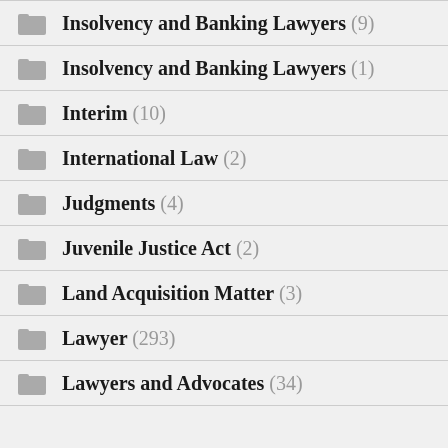Insolvency and Banking Lawyers (9)
Insolvency and Banking Lawyers (1)
Interim (10)
International Law (2)
Judgments (4)
Juvenile Justice Act (2)
Land Acquisition Matter (3)
Lawyer (293)
Lawyers and Advocates (34)